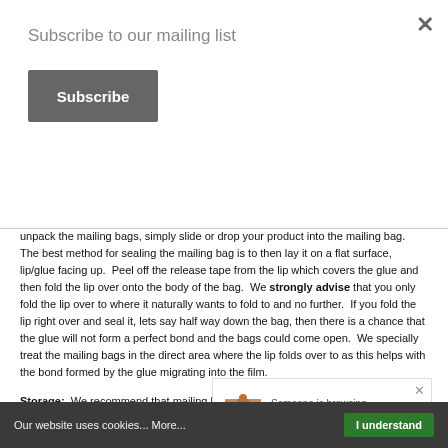Subscribe to our mailing list
Subscribe
unpack the mailing bags, simply slide or drop your product into the mailing bag.  The best method for sealing the mailing bag is to then lay it on a flat surface, lip/glue facing up.  Peel off the release tape from the lip which covers the glue and then fold the lip over onto the body of the bag.  We strongly advise that you only fold the lip over to where it naturally wants to fold to and no further.  If you fold the lip right over and seal it, lets say half way down the bag, then there is a chance that the glue will not form a perfect bond and the bags could come open.  We specially treat the mailing bags in the direct area where the lip folds over to as this helps with the bond formed by the glue migrating into the film.
Storage;  We recommend that mailing bags with Permanent Tape are stored at a temperature of 15 - 20 degrees and 50% relative Humidity.  If the ambient temperature falls to less than z... you have a means of warming... cold temperature and/or the... the film.
Someone is browsing Boxes just now!
Our website uses cookies... More... I understand